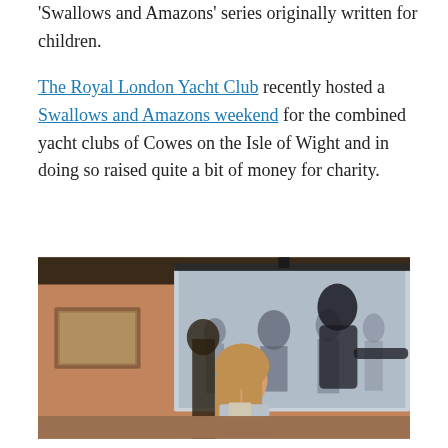'Swallows and Amazons' series originally written for children.
The Royal London Yacht Club recently hosted a Swallows and Amazons weekend for the combined yacht clubs of Cowes on the Isle of Wight and in doing so raised quite a bit of money for charity.
[Figure (photo): Indoor event photo showing a woman with long blonde hair speaking or presenting, with a large projection screen behind her displaying a black-and-white historic image with a group of people. The room has warm orange/brown tones with a framed painting on the left wall.]